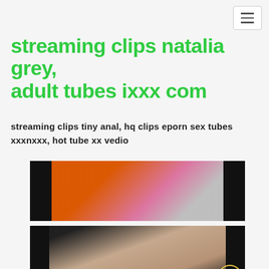[Figure (other): Hamburger menu button in top right corner]
streaming clips natalia grey, adult tubes ixxx com
streaming clips tiny anal, hq clips eporn sex tubes xxxnxxx, hot tube xx vedio
[Figure (photo): Partially visible photo with orange and dark tones]
[Figure (photo): Partially visible photo with dark background and skin tones]